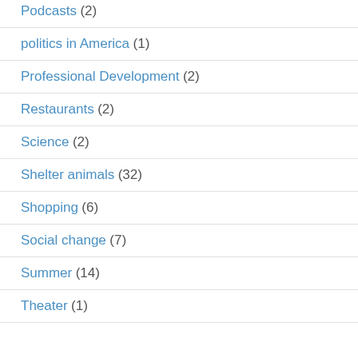Podcasts (2)
politics in America (1)
Professional Development (2)
Restaurants (2)
Science (2)
Shelter animals (32)
Shopping (6)
Social change (7)
Summer (14)
Theater (1)